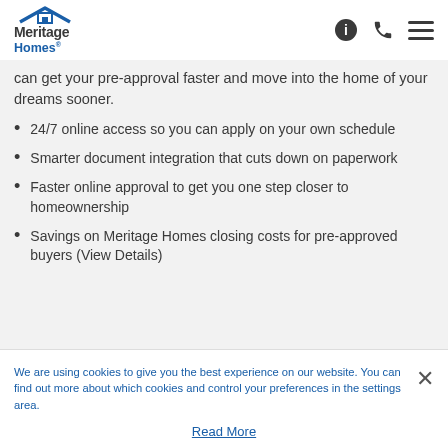Meritage Homes
can get your pre-approval faster and move into the home of your dreams sooner.
24/7 online access so you can apply on your own schedule
Smarter document integration that cuts down on paperwork
Faster online approval to get you one step closer to homeownership
Savings on Meritage Homes closing costs for pre-approved buyers (View Details)
We are using cookies to give you the best experience on our website. You can find out more about which cookies and control your preferences in the settings area.
Read More